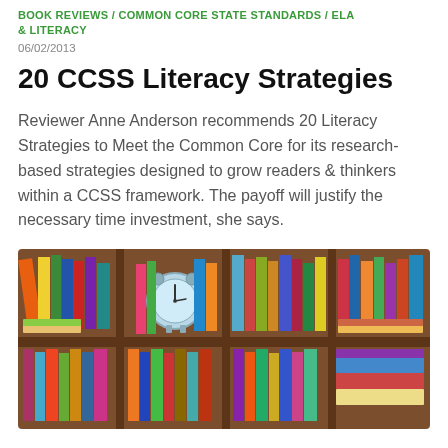BOOK REVIEWS / COMMON CORE STATE STANDARDS / ELA & LITERACY
06/02/2013
20 CCSS Literacy Strategies
Reviewer Anne Anderson recommends 20 Literacy Strategies to Meet the Common Core for its research-based strategies designed to grow readers & thinkers within a CCSS framework. The payoff will justify the necessary time investment, she says.
[Figure (illustration): Colorful illustration of a bookshelf with multiple shelves filled with books of various colors and sizes, and an alarm clock in the center shelf.]